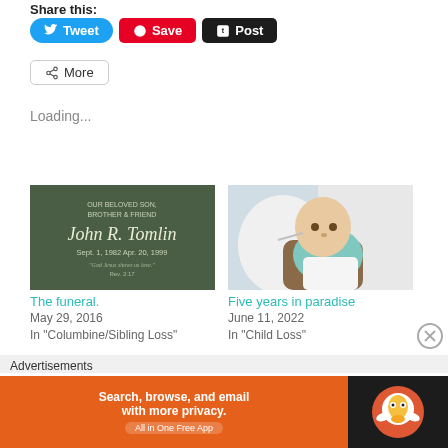Share this:
Tweet
Save
Post
More
Loading...
[Figure (photo): Tombstone for John R. Tomlin, OUR BELOVED SON, BROTHER & FRIEND, Sept. 1, 1982 - Apr. 20, 1999]
The funeral.
May 29, 2016
In "Columbine/Sibling Loss"
[Figure (photo): Baby/infant lying on white pillows wearing teal outfit with medical tube]
Five years in paradise
June 11, 2022
In "Child Loss"
Advertisements
[Figure (other): DuckDuckGo advertisement: Search, browse, and email with more privacy. All in One Free App]